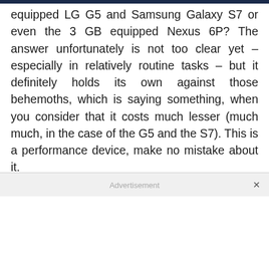equipped LG G5 and Samsung Galaxy S7 or even the 3 GB equipped Nexus 6P? The answer unfortunately is not too clear yet – especially in relatively routine tasks – but it definitely holds its own against those behemoths, which is saying something, when you consider that it costs much lesser (much much, in the case of the G5 and the S7). This is a performance device, make no mistake about it.
Advertisement